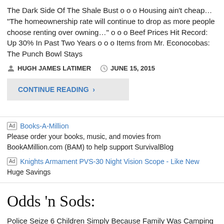The Dark Side Of The Shale Bust o o o Housing ain't cheap… "The homeownership rate will continue to drop as more people choose renting over owning…" o o o Beef Prices Hit Record: Up 30% In Past Two Years o o o Items from Mr. Econocobas: The Punch Bowl Stays
HUGH JAMES LATIMER   JUNE 15, 2015
CONTINUE READING ›
Ad  Books-A-Million
Please order your books, music, and movies from BookAMillion.com (BAM) to help support SurvivalBlog
Ad  Knights Armament PVS-30 Night Vision Scope - Like New
Huge Savings
Odds 'n Sods:
Police Seize 6 Children Simply Because Family Was Camping – D.S. o o o Huge problem for gun-grabbers: Polls reveal Americans know guns make their homes and neighborhoods safer. – H.L. o o o You